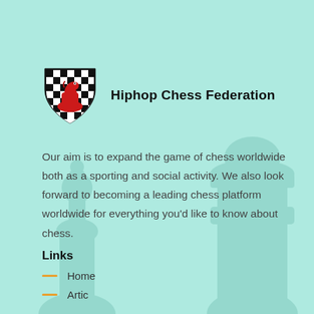[Figure (logo): Hiphop Chess Federation shield logo with checkered pattern and red chess knight]
Hiphop Chess Federation
Our aim is to expand the game of chess worldwide both as a sporting and social activity. We also look forward to becoming a leading chess platform worldwide for everything you'd like to know about chess.
Links
Home
Artic…